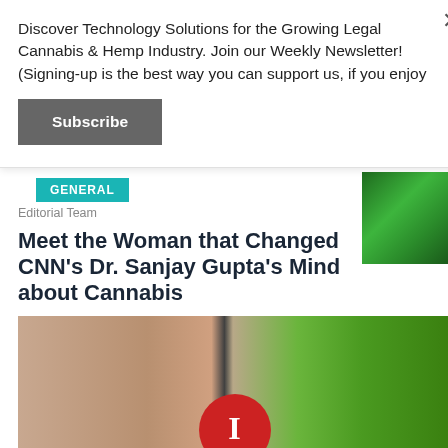Discover Technology Solutions for the Growing Legal Cannabis & Hemp Industry. Join our Weekly Newsletter! (Signing-up is the best way you can support us, if you enjoy
Subscribe
GENERAL
Editorial Team
Meet the Woman that Changed CNN’s Dr. Sanjay Gupta’s Mind about Cannabis
[Figure (photo): A hand holding a red circular button with the letter I, with cannabis leaves in the background]